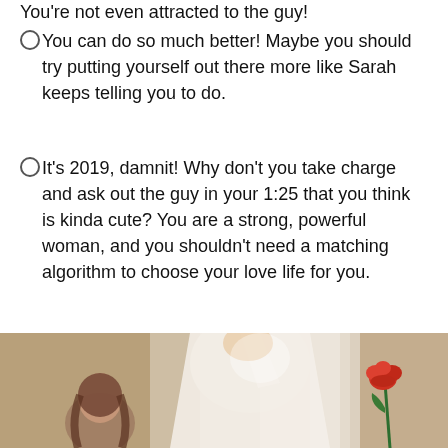You're not even attracted to the guy!
You can do so much better! Maybe you should try putting yourself out there more like Sarah keeps telling you to do.
It's 2019, damnit! Why don't you take charge and ask out the guy in your 1:25 that you think is kinda cute? You are a strong, powerful woman, and you shouldn't need a matching algorithm to choose your love life for you.
[Figure (other): A red Next button]
[Figure (photo): A photo showing a person in white formal attire holding up their arm, with a red rose visible on the right side and a woman with long brown hair in the background.]